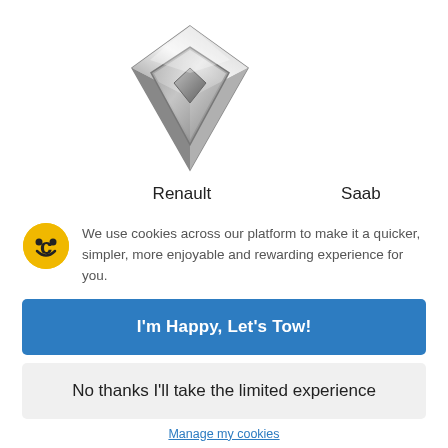[Figure (logo): Renault diamond logo in silver/chrome metallic finish]
Renault
Saab
We use cookies across our platform to make it a quicker, simpler, more enjoyable and rewarding experience for you.
I'm Happy, Let's Tow!
No thanks I'll take the limited experience
Manage my cookies